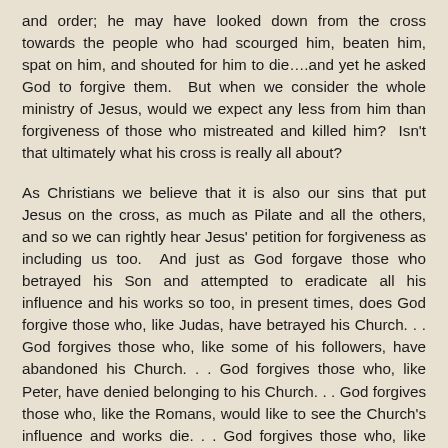and order; he may have looked down from the cross towards the people who had scourged him, beaten him, spat on him, and shouted for him to die….and yet he asked God to forgive them.  But when we consider the whole ministry of Jesus, would we expect any less from him than forgiveness of those who mistreated and killed him?  Isn't that ultimately what his cross is really all about?
As Christians we believe that it is also our sins that put Jesus on the cross, as much as Pilate and all the others, and so we can rightly hear Jesus' petition for forgiveness as including us too.  And just as God forgave those who betrayed his Son and attempted to eradicate all his influence and his works so too, in present times, does God forgive those who, like Judas, have betrayed his Church. . . God forgives those who, like some of his followers, have abandoned his Church. . . God forgives those who, like Peter, have denied belonging to his Church. . . God forgives those who, like the Romans, would like to see the Church's influence and works die. . . God forgives those who, like Pontius Pilate, listen to the crowds without following their own hearts. . . God forgives those who, like Thomas, have